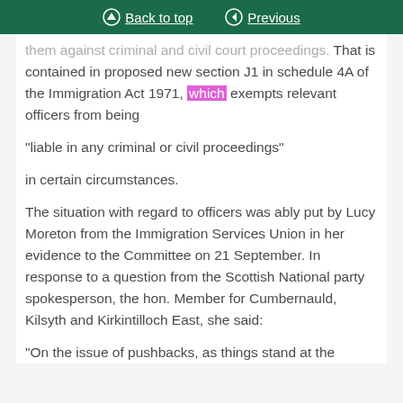Back to top   Previous
them against criminal and civil court proceedings. That is contained in proposed new section J1 in schedule 4A of the Immigration Act 1971, which exempts relevant officers from being
“liable in any criminal or civil proceedings”
in certain circumstances.
The situation with regard to officers was ably put by Lucy Moreton from the Immigration Services Union in her evidence to the Committee on 21 September. In response to a question from the Scottish National party spokesperson, the hon. Member for Cumbernauld, Kilsyth and Kirkintilloch East, she said:
“On the issue of pushbacks, as things stand at the